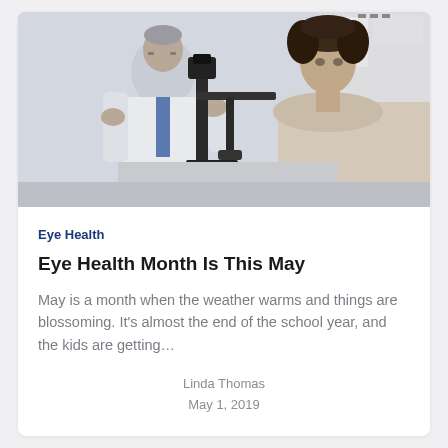[Figure (photo): An eye doctor in a white coat using a slit lamp to examine a female patient's eyes in a clinical setting]
Eye Health
Eye Health Month Is This May
May is a month when the weather warms and things are blossoming. It's almost the end of the school year, and the kids are getting…
Linda Thomas
May 1, 2019